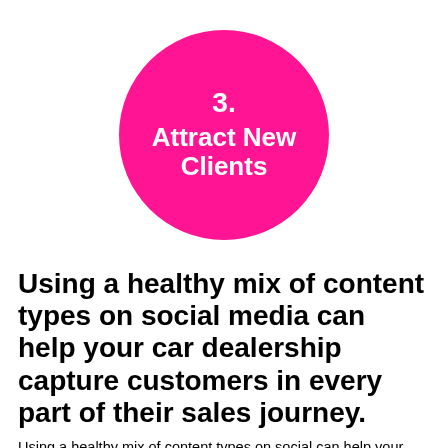[Figure (infographic): Hot pink circle containing the text '3. Attract New Clients' in white bold font]
Using a healthy mix of content types on social media can help your car dealership capture customers in every part of their sales journey.
Using a healthy mix of content types on social can help your